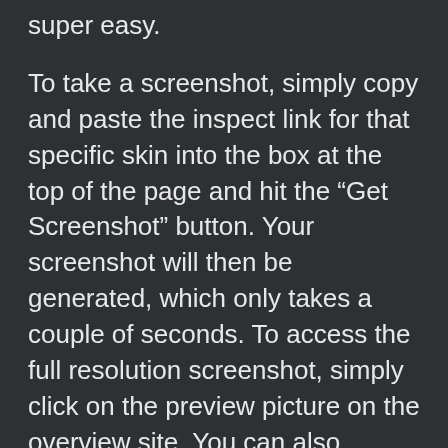super easy.
To take a screenshot, simply copy and paste the inspect link for that specific skin into the box at the top of the page and hit the “Get Screenshot” button. Your screenshot will then be generated, which only takes a couple of seconds. To access the full resolution screenshot, simply click on the preview picture on the overview site. You can also quickly copy the shareable link to a screenshot by pressing “Copy Screenshot Link”. The links don’t expire, so you and anyone with access to the links can always access the screenshots you have taken.
Our tool also shows a quick overview of the most important details about a skin, namely its Stickers, Pattern and Wear. These details are also included in the screenshots, they can be